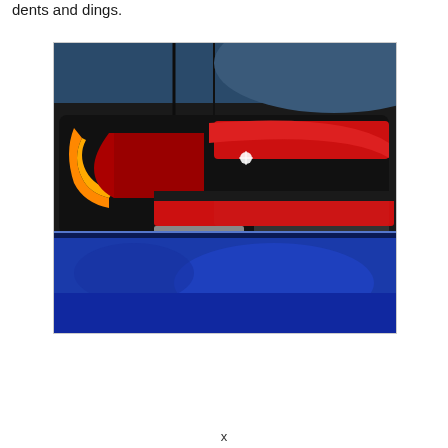dents and dings.
[Figure (photo): Close-up photograph of the rear tail light of a blue car, showing LED tail lights with orange and red illumination, against a vivid blue car body panel.]
x